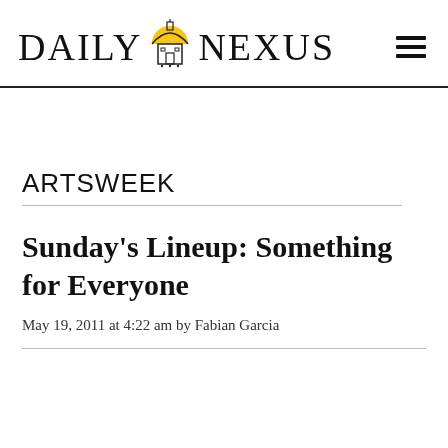DAILY NEXUS
ARTSWEEK
Sunday's Lineup: Something for Everyone
May 19, 2011 at 4:22 am by Fabian Garcia